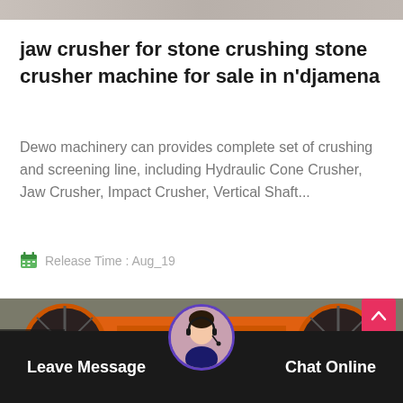[Figure (photo): Top strip showing partial image background, gray/brown tones]
jaw crusher for stone crushing stone crusher machine for sale in n'djamena
Dewo machinery can provides complete set of crushing and screening line, including Hydraulic Cone Crusher, Jaw Crusher, Impact Crusher, Vertical Shaft...
Release Time : Aug_19
[Figure (photo): Orange jaw crusher industrial machine with large black flywheels on both sides, photographed in a factory/outdoor setting]
Leave Message
Chat Online